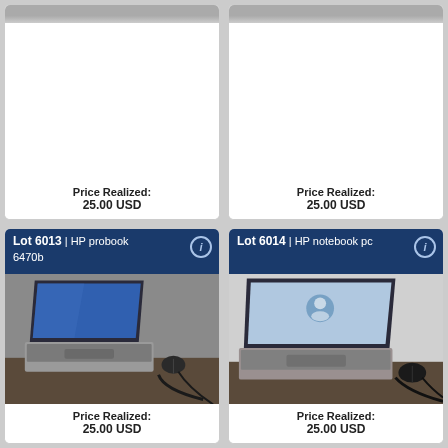[Figure (photo): Top-left card partial view - cropped laptop photo at top, white space below]
Price Realized:
25.00 USD
[Figure (photo): Top-right card partial view - cropped laptop photo at top, white space below]
Price Realized:
25.00 USD
[Figure (photo): Lot 6013 | HP probook 6470b - laptop with blue screen, mouse, and cables on table]
Price Realized:
25.00 USD
[Figure (photo): Lot 6014 | HP notebook pc - laptop with login screen, mouse, and cables on table]
Price Realized:
25.00 USD